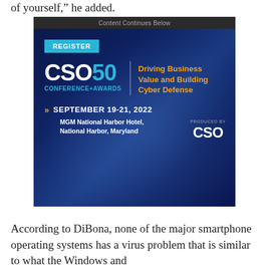of yourself," he added.
[Figure (infographic): CSO50 Conference+Awards advertisement banner. Cyan REGISTER button at top. Logo reads CSO50 CONFERENCE+AWARDS. Tagline: Driving Business Value and Building Cyber Defense. Date: September 19-21, 2022. Venue: MGM National Harbor Hotel, National Harbor, Maryland. Produced by CSO.]
According to DiBona, none of the major smartphone operating systems has a virus problem that is similar to what the Windows and